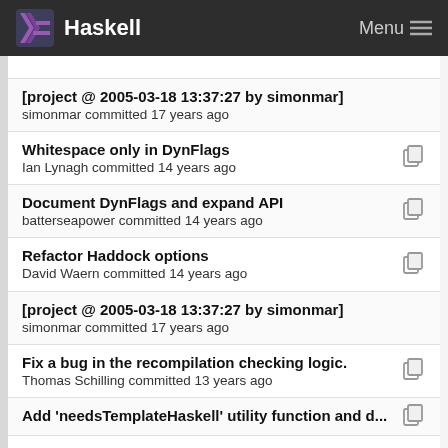Haskell  Menu
[project @ 2005-03-18 13:37:27 by simonmar]
simonmar committed 17 years ago
Whitespace only in DynFlags
Ian Lynagh committed 14 years ago
Document DynFlags and expand API
batterseapower committed 14 years ago
Refactor Haddock options
David Waern committed 14 years ago
[project @ 2005-03-18 13:37:27 by simonmar]
simonmar committed 17 years ago
Fix a bug in the recompilation checking logic.
Thomas Schilling committed 13 years ago
Add 'needsTemplateHaskell' utility function and d...